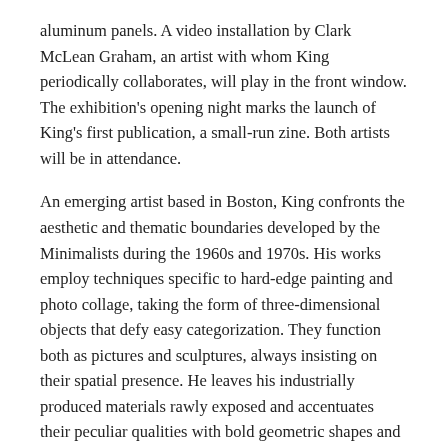aluminum panels. A video installation by Clark McLean Graham, an artist with whom King periodically collaborates, will play in the front window. The exhibition's opening night marks the launch of King's first publication, a small-run zine. Both artists will be in attendance.
An emerging artist based in Boston, King confronts the aesthetic and thematic boundaries developed by the Minimalists during the 1960s and 1970s. His works employ techniques specific to hard-edge painting and photo collage, taking the form of three-dimensional objects that defy easy categorization. They function both as pictures and sculptures, always insisting on their spatial presence. He leaves his industrially produced materials rawly exposed and accentuates their peculiar qualities with bold geometric shapes and dynamic optical patterns. Thick layers of acrylic paint are applied with a brush, yet the lines are executed with rigid precision. Each work's frame is assembled by hand but left wholly unadorned. King sets up a tension between the impersonal character of the prefabricated materials he uses and the direct touch of his craft, at once cohering with Minimalism's aesthetic tendencies and jettisoning them.